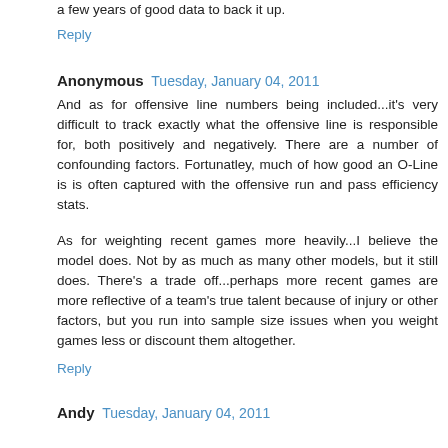a few years of good data to back it up.
Reply
Anonymous  Tuesday, January 04, 2011
And as for offensive line numbers being included...it's very difficult to track exactly what the offensive line is responsible for, both positively and negatively. There are a number of confounding factors. Fortunatley, much of how good an O-Line is is often captured with the offensive run and pass efficiency stats.
As for weighting recent games more heavily...I believe the model does. Not by as much as many other models, but it still does. There's a trade off...perhaps more recent games are more reflective of a team's true talent because of injury or other factors, but you run into sample size issues when you weight games less or discount them altogether.
Reply
Andy Tuesday, January 04, 2011